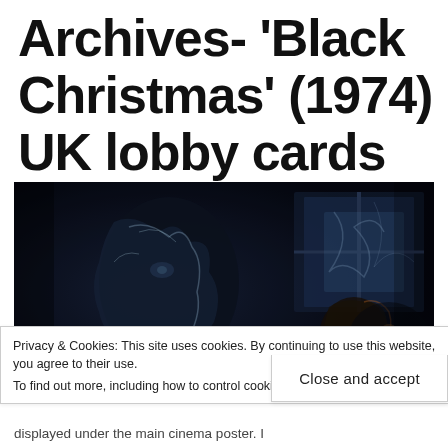Archives- 'Black Christmas' (1974) UK lobby cards
[Figure (photo): Dark still from the 1974 horror film 'Black Christmas' showing a figure wrapped in plastic sheeting near a window with dim atmospheric lighting]
Privacy & Cookies: This site uses cookies. By continuing to use this website, you agree to their use.
To find out more, including how to control cookies, see here: Cookie Policy
Close and accept
displayed under the main cinema poster. I